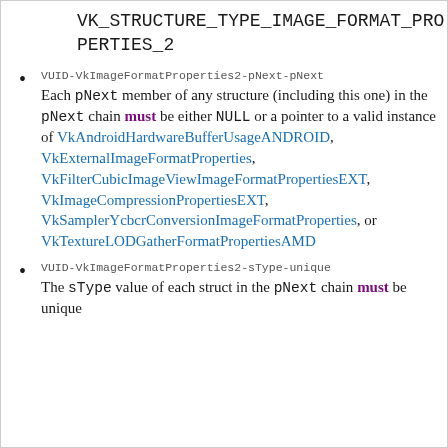VK_STRUCTURE_TYPE_IMAGE_FORMAT_PROPERTIES_2
VUID-VkImageFormatProperties2-pNext-pNext Each pNext member of any structure (including this one) in the pNext chain must be either NULL or a pointer to a valid instance of VkAndroidHardwareBufferUsageANDROID, VkExternalImageFormatProperties, VkFilterCubicImageViewImageFormatPropertiesEXT, VkImageCompressionPropertiesEXT, VkSamplerYcbcrConversionImageFormatProperties, or VkTextureLODGatherFormatPropertiesAMD
VUID-VkImageFormatProperties2-sType-unique The sType value of each struct in the pNext chain must be unique